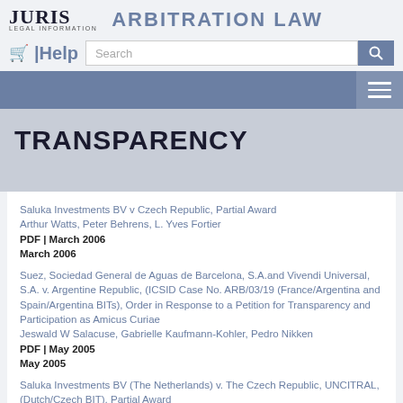JURIS LEGAL INFORMATION | ARBITRATION LAW
TRANSPARENCY
Saluka Investments BV v Czech Republic, Partial Award
Arthur Watts, Peter Behrens, L. Yves Fortier
PDF | March 2006
March 2006
Suez, Sociedad General de Aguas de Barcelona, S.A.and Vivendi Universal, S.A. v. Argentine Republic, (ICSID Case No. ARB/03/19 (France/Argentina and Spain/Argentina BITs), Order in Response to a Petition for Transparency and Participation as Amicus Curiae
Jeswald W Salacuse, Gabrielle Kaufmann-Kohler, Pedro Nikken
PDF | May 2005
May 2005
Saluka Investments BV (The Netherlands) v. The Czech Republic, UNCITRAL, (Dutch/Czech BIT), Partial Award
Arthur Watts, L. Yves Fortier, Peter Behrens